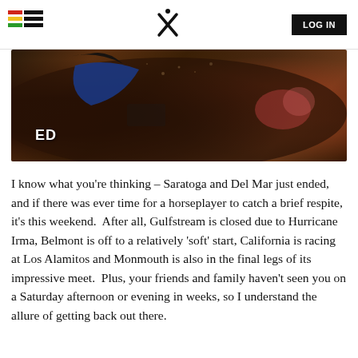LOG IN
[Figure (photo): Close-up action photo of a racehorse with blue silks and jockey, showing partial text 'ED' on the saddle cloth, dirt flying during a race]
I know what you're thinking – Saratoga and Del Mar just ended, and if there was ever time for a horseplayer to catch a brief respite, it's this weekend.  After all, Gulfstream is closed due to Hurricane Irma, Belmont is off to a relatively 'soft' start, California is racing at Los Alamitos and Monmouth is also in the final legs of its impressive meet.  Plus, your friends and family haven't seen you on a Saturday afternoon or evening in weeks, so I understand the allure of getting back out there.